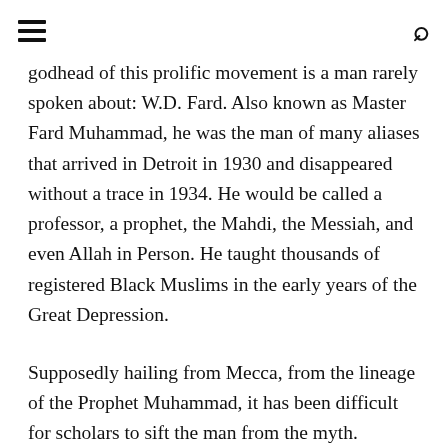[hamburger menu icon] [search icon]
godhead of this prolific movement is a man rarely spoken about: W.D. Fard. Also known as Master Fard Muhammad, he was the man of many aliases that arrived in Detroit in 1930 and disappeared without a trace in 1934. He would be called a professor, a prophet, the Mahdi, the Messiah, and even Allah in Person. He taught thousands of registered Black Muslims in the early years of the Great Depression.
Supposedly hailing from Mecca, from the lineage of the Prophet Muhammad, it has been difficult for scholars to sift the man from the myth. Besides few surviving public records and a doctored photograph, most of what we know about Fard comes from Elijah Muhammad, the long-time leader of the NOI. Many questions must be asked. As